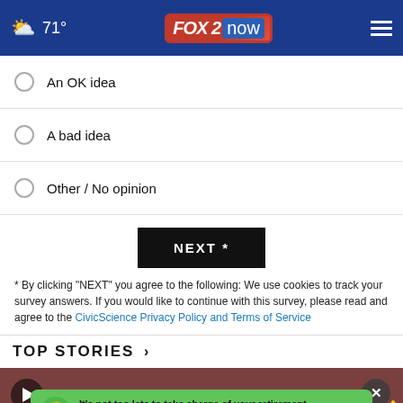71° FOX 2 now
An OK idea
A bad idea
Other / No opinion
NEXT *
* By clicking "NEXT" you agree to the following: We use cookies to track your survey answers. If you would like to continue with this survey, please read and agree to the CivicScience Privacy Policy and Terms of Service
TOP STORIES ›
[Figure (screenshot): Video thumbnail with play button and close button, showing a dark reddish-brown background. An advertisement banner at the bottom reads: It's not too late to take charge of your retirement. Get your top 3 tips → Ad Council AARP Real Possibilities]